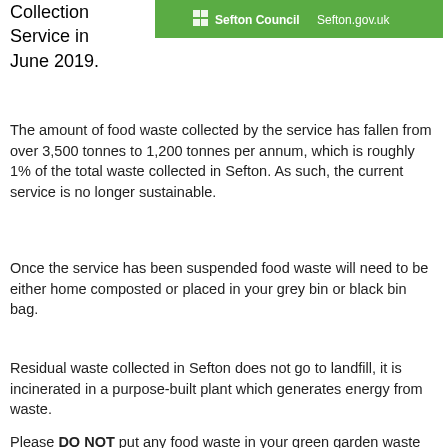Collection Service in June 2019.
[Figure (logo): Sefton Council logo and sefton.gov.uk text on green background]
The amount of food waste collected by the service has fallen from over 3,500 tonnes to 1,200 tonnes per annum, which is roughly 1% of the total waste collected in Sefton. As such, the current service is no longer sustainable.
Once the service has been suspended food waste will need to be either home composted or placed in your grey bin or black bin bag.
Residual waste collected in Sefton does not go to landfill, it is incinerated in a purpose-built plant which generates energy from waste.
Please DO NOT put any food waste in your green garden waste bin for development and have not been able to determine the